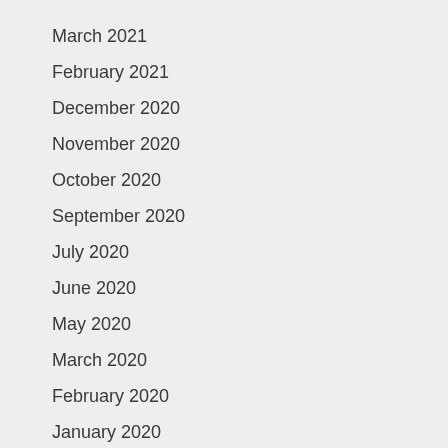March 2021
February 2021
December 2020
November 2020
October 2020
September 2020
July 2020
June 2020
May 2020
March 2020
February 2020
January 2020
December 2019
October 2019
September 2019